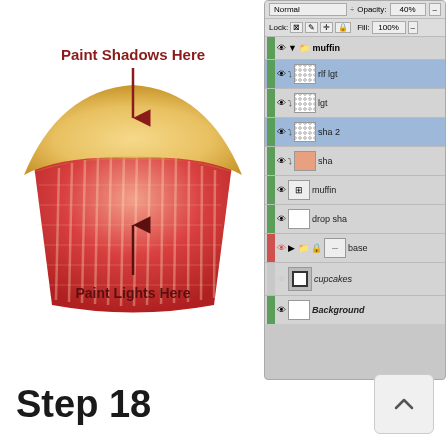[Figure (illustration): Digital painting tutorial showing a cupcake wrapper/base being painted with shadows and lights. Red arrows indicate where to paint shadows (top, pointing down) and lights (bottom, pointing up). Text labels 'Paint Shadows Here' in red and 'Paint Lights Here' in dark red on the cupcake illustration.]
[Figure (screenshot): Photoshop Layers panel showing layers: muffin group (with sub-layers: rlf lgt, lgt, sha 2, sha), muffin, drop sha, base group, cupcakes, Background. Normal blend mode at 40% opacity. Fill 100%.]
Step 18